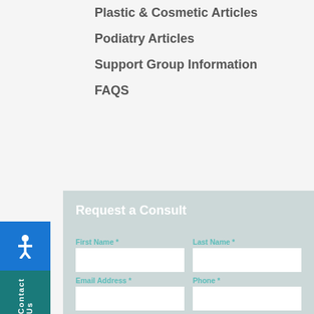Plastic & Cosmetic Articles
Podiatry Articles
Support Group Information
FAQS
Request a Consult
First Name *
Last Name *
Email Address *
Phone *
Best Time to Call
7 am to 10 am